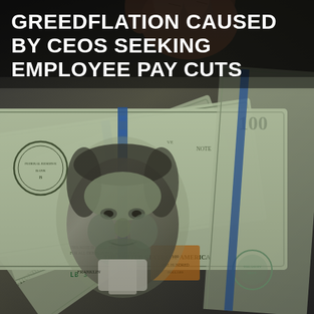[Figure (photo): Close-up photo of a fanned-out set of US $100 dollar bills showing Benjamin Franklin's portrait, Federal Reserve seal, security features including blue strip and orange ink stamp, green Treasury seal, and serial number LB3. A hand is visible at the top holding the bills. The image is slightly dark/muted in tone.]
GREEDFLATION CAUSED BY CEOS SEEKING EMPLOYEE PAY CUTS